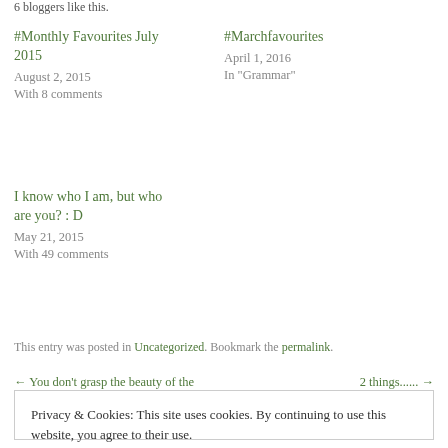6 bloggers like this.
#Monthly Favourites July 2015
August 2, 2015
With 8 comments
#Marchfavourites
April 1, 2016
In "Grammar"
I know who I am, but who are you? : D
May 21, 2015
With 49 comments
This entry was posted in Uncategorized. Bookmark the permalink.
← You don't grasp the beauty of the
2 things...... →
Privacy & Cookies: This site uses cookies. By continuing to use this website, you agree to their use.
To find out more, including how to control cookies, see here: Cookie Policy
Close and accept